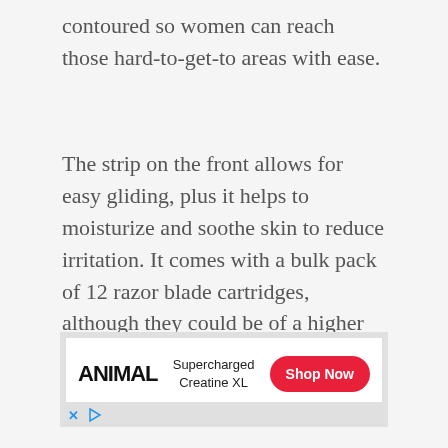contoured so women can reach those hard-to-get-to areas with ease.
The strip on the front allows for easy gliding, plus it helps to moisturize and soothe skin to reduce irritation. It comes with a bulk pack of 12 razor blade cartridges, although they could be of a higher quality.
[Figure (other): Advertisement banner for ANIMAL brand Supercharged Creatine XL with a red Shop Now button and ad footer icons]